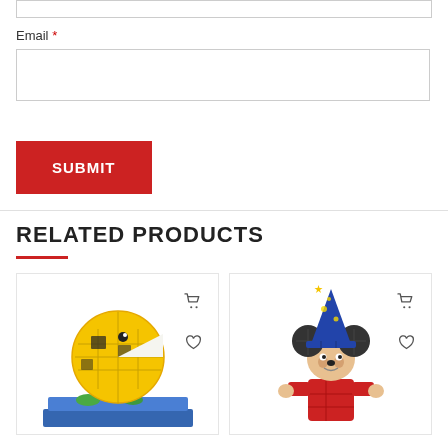Email *
[Figure (screenshot): Email input field (empty text box)]
[Figure (screenshot): Submit button - red rectangle with white uppercase text SUBMIT]
RELATED PRODUCTS
[Figure (photo): Pac-Man LEGO brick figure on blue base with green accents, yellow round pac-man shape with black details. Shopping cart and heart icons visible on right.]
[Figure (photo): Mickey Mouse sorcerer LEGO brick figure wearing blue star hat, red outfit. Shopping cart and heart icons visible on right.]